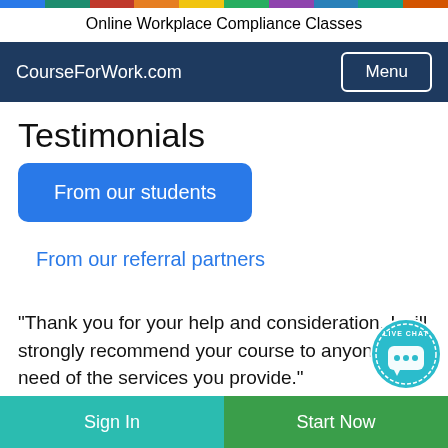[Figure (other): Multicolor horizontal bar at top of page]
Online Workplace Compliance Classes
CourseForWork.com  Menu
Testimonials
From our students
From our referral partners
"Thank you for your help and consideration. I will strongly recommend your course to anyone in need of the services you provide."
[Figure (other): Live Chat badge icon]
Sign In   Start Now